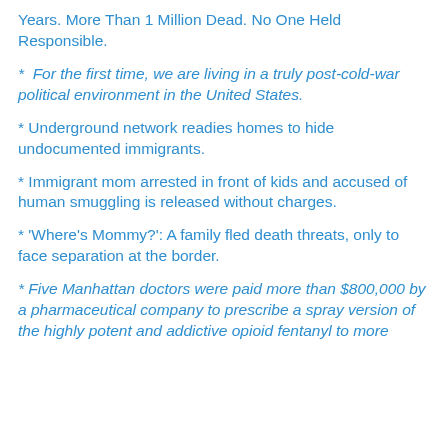Years. More Than 1 Million Dead. No One Held Responsible.
For the first time, we are living in a truly post-cold-war political environment in the United States.
Underground network readies homes to hide undocumented immigrants.
Immigrant mom arrested in front of kids and accused of human smuggling is released without charges.
'Where's Mommy?': A family fled death threats, only to face separation at the border.
Five Manhattan doctors were paid more than $800,000 by a pharmaceutical company to prescribe a spray version of the highly potent and addictive opioid fentanyl to more